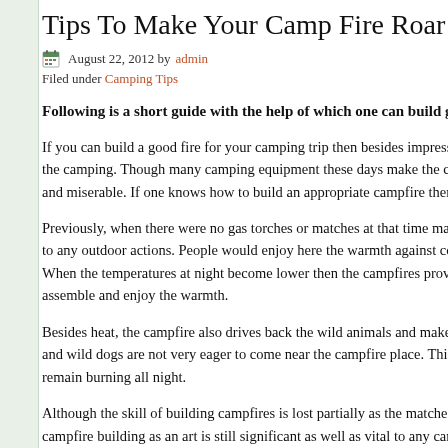Tips To Make Your Camp Fire Roar
August 22, 2012 by admin
Filed under Camping Tips
Following is a short guide with the help of which one can build great cam...
If you can build a good fire for your camping trip then besides impressing your friends, it adds fun to the camping. Though many camping equipment these days make the conventional camping quite sophisticated and miserable. If one knows how to build an appropriate campfire then it can re...
Previously, when there were no gas torches or matches at that time making an... to any outdoor actions. People would enjoy here the warmth against cold weat... When the temperatures at night become lower then the campfires provide a sp... assemble and enjoy the warmth.
Besides heat, the campfire also drives back the wild animals and makes the pla... and wild dogs are not very eager to come near the campfire place. This is the r... remain burning all night.
Although the skill of building campfires is lost partially as the matches seems to... campfire building as an art is still significant as well as vital to any camper's tric...
Firstly, the secret of beginning the campfires is that you have to start it fast. It is... exactly what is required to begin the campfire i.e. fuel, oxygen and heat.
The oxygen present around us is not readily obtainable all the time during cam...